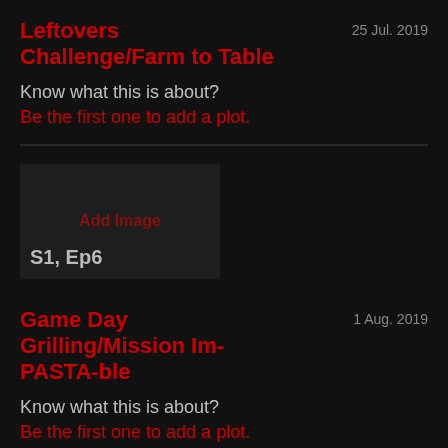Leftovers Challenge/Farm to Table
25 Jul. 2019
Know what this is about?
Be the first one to add a plot.
[Figure (other): Thumbnail placeholder with 'Add Image' text and episode label 'S1, Ep6']
Game Day Grilling/Mission Im-PASTA-ble
1 Aug. 2019
Know what this is about?
Be the first one to add a plot.
[Figure (other): Thumbnail placeholder with 'Add Image' text at bottom of page]